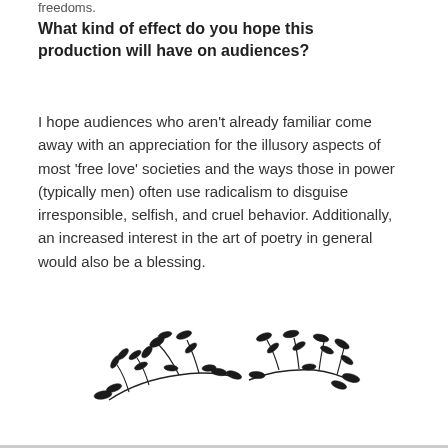freedoms.
What kind of effect do you hope this production will have on audiences?
I hope audiences who aren't already familiar come away with an appreciation for the illusory aspects of most 'free love' societies and the ways those in power (typically men) often use radicalism to disguise irresponsible, selfish, and cruel behavior. Additionally, an increased interest in the art of poetry in general would also be a blessing.
[Figure (illustration): Decorative botanical illustration of two intertwined leafy vine/branch motifs in black ink, centered near the bottom of the page.]